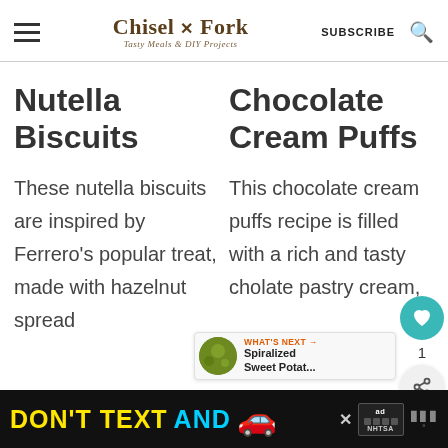Chisel & Fork — Tasty Meals & DIY Projects | SUBSCRIBE
Nutella Biscuits
Chocolate Cream Puffs
These nutella biscuits are inspired by Ferrero's popular treat, made with hazelnut spread
This chocolate cream puffs recipe is filled with a rich and tasty cho... pastry cream,
[Figure (other): Advertisement banner: DON'T TEXT AND [car emoji] with NHTSA logo and ad badge]